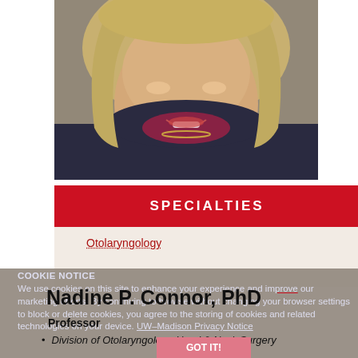[Figure (photo): Professional headshot of Nadine P. Connor, PhD - a woman with blonde hair wearing a dark jacket and red/maroon blouse with a gold necklace, smiling]
SPECIALTIES
Otolaryngology
Nadine P. Connor, PhD
Professor
COOKIE NOTICE
We use cookies on this site to enhance your experience and improve our marketing efforts. By continuing to browse without changing your browser settings to block or delete cookies, you agree to the storing of cookies and related technologies on your device. UW–Madison Privacy Notice
Division of Otolaryngology-Head & Neck Surgery
GOT IT!